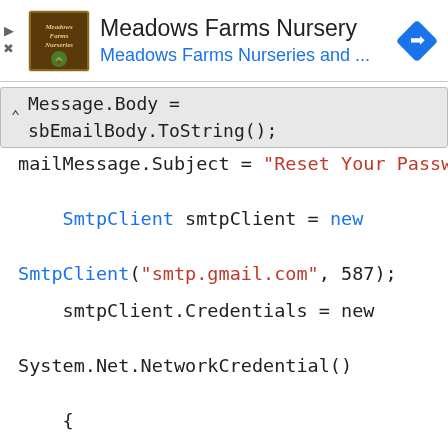[Figure (other): Advertisement banner for Meadows Farms Nursery with logo, title, subtitle and navigation icon]
mailMessage.Body = sbEmailBody.ToString();
    mailMessage.Subject = "Reset Your Password";
    SmtpClient smtpClient = new SmtpClient("smtp.gmail.com", 587);

    smtpClient.Credentials = new System.Net.NetworkCredential()
    {
        UserName = "YourEmail@gmail.com",
        Password = "YourPassword"
    };

    smtpClient.EnableSsl = true;
    smtpClient.Send(mailMessage);
}
Step 6: